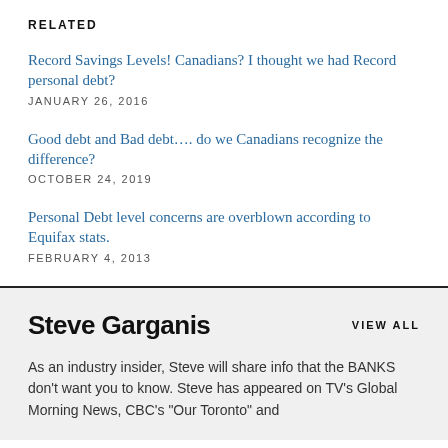RELATED
Record Savings Levels! Canadians? I thought we had Record personal debt?
JANUARY 26, 2016
Good debt and Bad debt…. do we Canadians recognize the difference?
OCTOBER 24, 2019
Personal Debt level concerns are overblown according to Equifax stats.
FEBRUARY 4, 2013
Steve Garganis
VIEW ALL
As an industry insider, Steve will share info that the BANKS don't want you to know. Steve has appeared on TV's Global Morning News, CBC's "Our Toronto" and